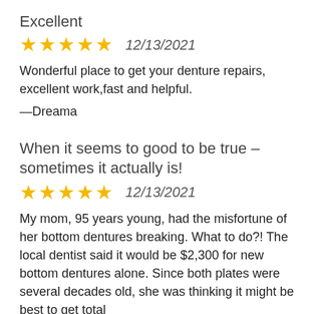Excellent
★★★★★  12/13/2021
Wonderful place to get your denture repairs, excellent work,fast and helpful.
—Dreama
When it seems to good to be true – sometimes it actually is!
★★★★★  12/13/2021
My mom, 95 years young, had the misfortune of her bottom dentures breaking. What to do?! The local dentist said it would be $2,300 for new bottom dentures alone. Since both plates were several decades old, she was thinking it might be best to get total